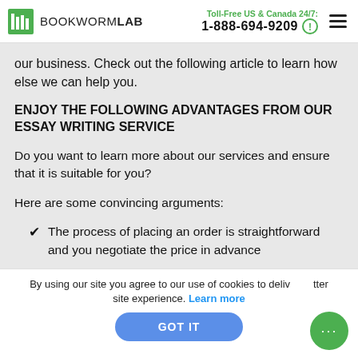BOOKWORMLAB | Toll-Free US & Canada 24/7: 1-888-694-9209
our business. Check out the following article to learn how else we can help you.
ENJOY THE FOLLOWING ADVANTAGES FROM OUR ESSAY WRITING SERVICE
Do you want to learn more about our services and ensure that it is suitable for you?
Here are some convincing arguments:
The process of placing an order is straightforward and you negotiate the price in advance
By using our site you agree to our use of cookies to deliver a better site experience. Learn more
GOT IT